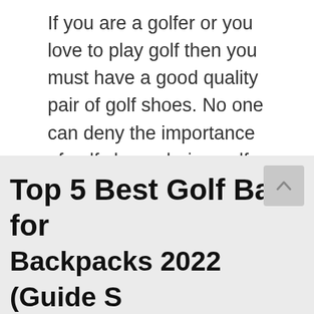If you are a golfer or you love to play golf then you must have a good quality pair of golf shoes. No one can deny the importance of golf shoes during golf playing. The best golf shoe is the one in which you feel comfortable and that perfectly suits your feet. It is challenging … Read more
Categories: golf shoes
Tags: best golf shoes, best golf shoes for wide feet
Leave a comment
Top 5 Best Golf Bags for Backpacks 2022 (Guide S...